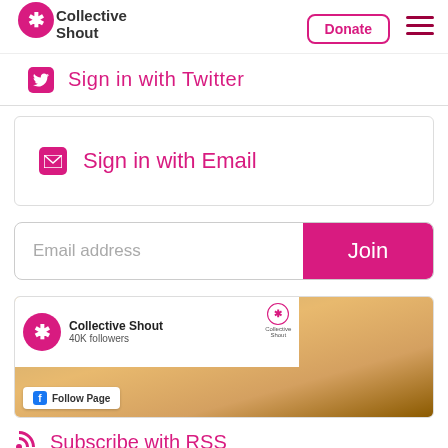Collective Shout | Donate
Sign in with Twitter
Sign in with Email
Email address | Join
[Figure (screenshot): Collective Shout Facebook page widget showing logo, 40K followers, and Follow Page button with sunset superhero image background]
Subscribe with RSS